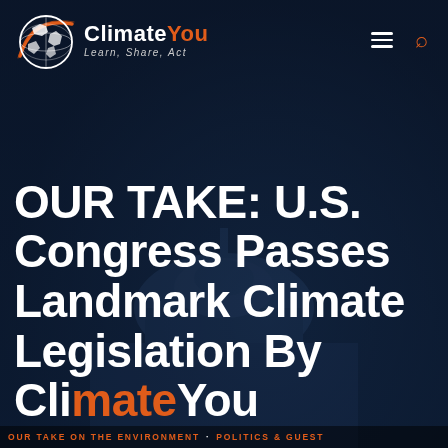[Figure (logo): ClimateYou logo with globe graphic and tagline 'Learn, Share, Act']
OUR TAKE: U.S. Congress Passes Landmark Climate Legislation By ClimateYou Guest
OUR TAKE ON THE ENVIRONMENT · POLITICS & GUEST